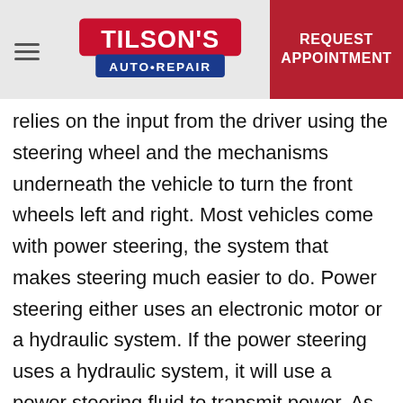Tilson's Auto Repair — REQUEST APPOINTMENT
relies on the input from the driver using the steering wheel and the mechanisms underneath the vehicle to turn the front wheels left and right. Most vehicles come with power steering, the system that makes steering much easier to do. Power steering either uses an electronic motor or a hydraulic system. If the power steering uses a hydraulic system, it will use a power steering fluid to transmit power. As the pressure builds, it moves the pistons in the steering gear/rack which reduces the effort needed from the driver. However, you may